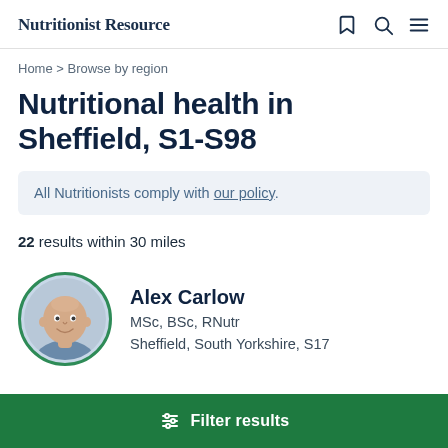Nutritionist Resource
Home > Browse by region
Nutritional health in Sheffield, S1-S98
All Nutritionists comply with our policy.
22 results within 30 miles
[Figure (photo): Circular profile photo of Alex Carlow, a bald smiling man with a green circular border]
Alex Carlow
MSc, BSc, RNutr
Sheffield, South Yorkshire, S17
Filter results